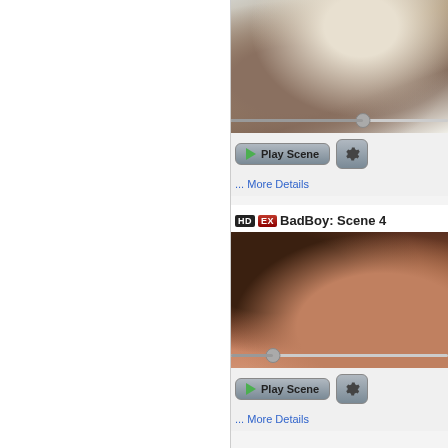[Figure (screenshot): Left white panel of a web UI]
[Figure (screenshot): Video scene thumbnail - top scene (partially visible at top)]
[Figure (screenshot): Play Scene button and settings gear icon for first scene]
... More Details
BadBoy: Scene 4
[Figure (screenshot): Video scene thumbnail - BadBoy Scene 4]
[Figure (screenshot): Play Scene button and settings gear icon for BadBoy Scene 4]
... More Details